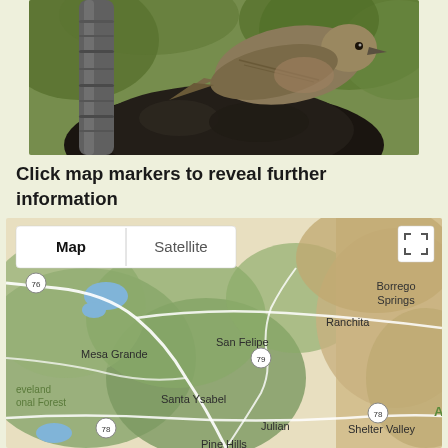[Figure (photo): Close-up photo of a bird (appears to be a House Finch or similar small songbird) perched on or near a dark rocky or woody surface. Green blurred foliage in background. Bird shows brown/streaked plumage.]
Click map markers to reveal further information
[Figure (map): Google Maps screenshot showing a topographic/road map of San Diego County area in California, showing locations including Mesa Grande, San Felipe, Ranchita, Borrego Springs, Cleveland National Forest, Santa Ysabel, Julian, Shelter Valley, Pine Hills. Map/Satellite toggle buttons visible at top left. Route 78 and 79 visible.]